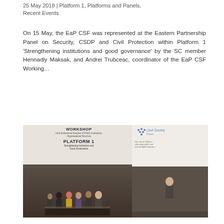25 May 2018 | Platform 1, Platforms and Panels, Recent Events
On 15 May, the EaP CSF was represented at the Eastern Partnership Panel on Security, CSDP and Civil Protection within Platform 1 ‘Strengthening institutions and good governance’ by the SC member Hennadiy Maksak, and Andrei Trubceac, coordinator of the EaP CSF Working…
[Figure (photo): Panel discussion photo showing a workshop banner reading WORKSHOP, Functional and Institutional Analysis of Public Institutions, Organisational Structure, PLATFORM 1, Strengthening Institutions and Good Governance. Six panelists are seated in a row during the Eastern Partnership panel discussion. A Civil Society logo and text are partially visible on the right side of the frame.]